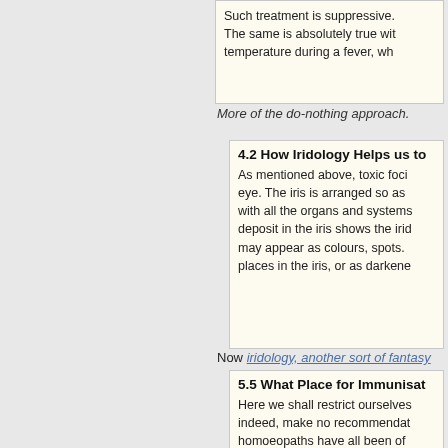Such treatment is suppressive. The same is absolutely true with temperature during a fever, wh…
More of the do-nothing approach.
4.2 How Iridology Helps us to…
As mentioned above, toxic foci… eye. The iris is arranged so as … with all the organs and systems… deposit in the iris shows the irid… may appear as colours, spots. … places in the iris, or as darkene…
Now iridology, another sort of fantasy…
5.5 What Place for Immunisat…
Here we shall restrict ourselves… indeed, make no recommendat… homoeopaths have all been of … diseased matter for injection int… not, they said, a proper proced…